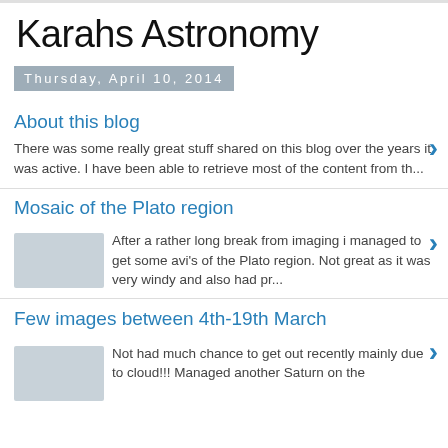Karahs Astronomy
Thursday, April 10, 2014
About this blog
There was some really great stuff shared on this blog over the years it was active. I have been able to retrieve most of the content from th...
Mosaic of the Plato region
After a rather long break from imaging i managed to get some avi's of the Plato region. Not great as it was very windy and also had pr...
Few images between 4th-19th March
Not had much chance to get out recently mainly due to cloud!!! Managed another Saturn on the